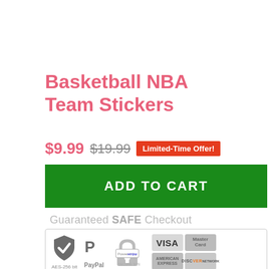Basketball NBA Team Stickers
$9.99  $19.99  Limited-Time Offer!
ADD TO CART
[Figure (infographic): Guaranteed SAFE Checkout badge with PayPal, Stripe, Visa, MasterCard, American Express, and Discover payment icons inside a bordered box.]